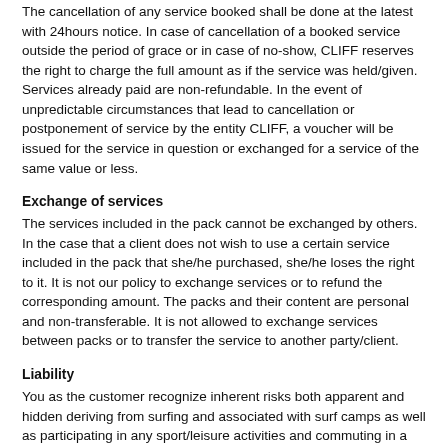The cancellation of any service booked shall be done at the latest with 24hours notice. In case of cancellation of a booked service outside the period of grace or in case of no-show, CLIFF reserves the right to charge the full amount as if the service was held/given. Services already paid are non-refundable. In the event of unpredictable circumstances that lead to cancellation or postponement of service by the entity CLIFF, a voucher will be issued for the service in question or exchanged for a service of the same value or less.
Exchange of services
The services included in the pack cannot be exchanged by others. In the case that a client does not wish to use a certain service included in the pack that she/he purchased, she/he loses the right to it. It is not our policy to exchange services or to refund the corresponding amount. The packs and their content are personal and non-transferable. It is not allowed to exchange services between packs or to transfer the service to another party/client.
Liability
You as the customer recognize inherent risks both apparent and hidden deriving from surfing and associated with surf camps as well as participating in any sport/leisure activities and commuting in a foreign country. All of these factors may threaten your wellbeing and cause injuries to you and other customers. To the full extent permitted by law, CLIFF SURF HOUSE does not hold any liability for any loss, damage or injury which may